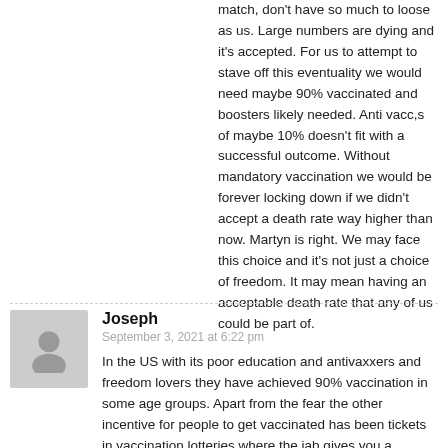match, don't have so much to loose as us. Large numbers are dying and it's accepted. For us to attempt to stave off this eventuality we would need maybe 90% vaccinated and boosters likely needed. Anti vacc,s of maybe 10% doesn't fit with a successful outcome. Without mandatory vaccination we would be forever locking down if we didn't accept a death rate way higher than now. Martyn is right. We may face this choice and it's not just a choice of freedom. It may mean having an acceptable death rate that any of us could be part of.
Joseph
September 3, 2021 at 6:22 pm
In the US with its poor education and antivaxxers and freedom lovers they have achieved 90% vaccination in some age groups. Apart from the fear the other incentive for people to get vaccinated has been tickets in vaccination lotteries where the jab gives you a chance to win millions. NZ should do this to boost the vaccination rate from expected 70% upto a herd